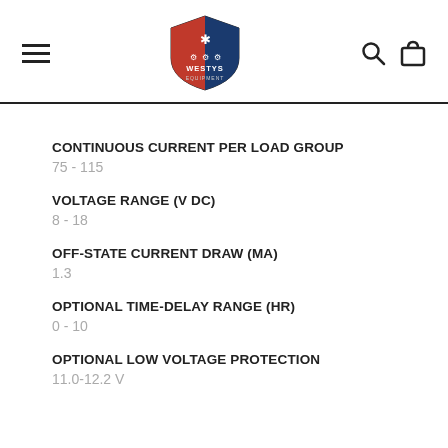Westys Equipment
CONTINUOUS CURRENT PER LOAD GROUP
75 - 115
VOLTAGE RANGE (V DC)
8 - 18
OFF-STATE CURRENT DRAW (mA)
1.3
OPTIONAL TIME-DELAY RANGE (HR)
0 - 10
OPTIONAL LOW VOLTAGE PROTECTION
11.0-12.2 V